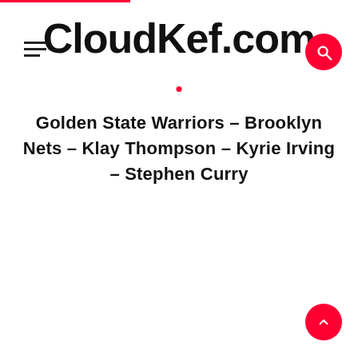CloudKef.com
Golden State Warriors – Brooklyn Nets – Klay Thompson – Kyrie Irving – Stephen Curry